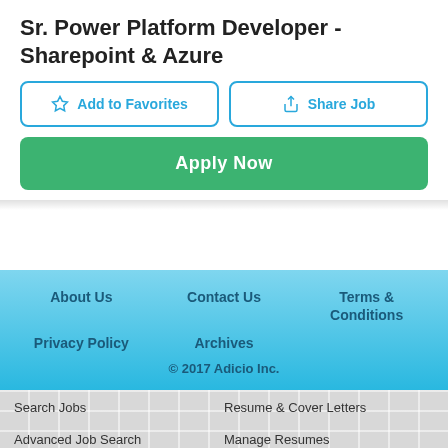Sr. Power Platform Developer - Sharepoint & Azure
Add to Favorites
Share Job
Apply Now
About Us | Contact Us | Terms & Conditions | Privacy Policy | Archives | © 2017 Adicio Inc.
Search Jobs
Resume & Cover Letters
Advanced Job Search
Manage Resumes
Browse Jobs by Category
Create A Resume